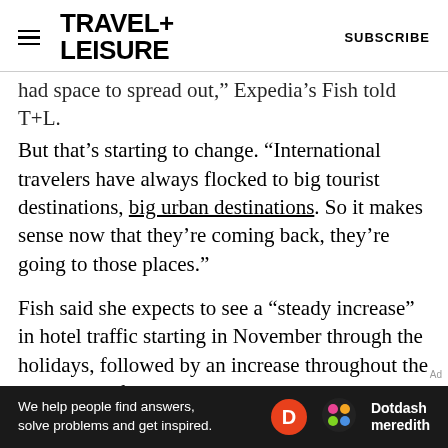TRAVEL+ LEISURE  SUBSCRIBE
had space to spread out," Expedia's Fish told T+L. But that's starting to change. "International travelers have always flocked to big tourist destinations, big urban destinations. So it makes sense now that they're coming back, they're going to those places."
Fish said she expects to see a "steady increase" in hotel traffic starting in November through the holidays, followed by an increase throughout the beginning of 2022.
"And by next summer, it's going to be a flood of travelers going every which way across every ocean," she said.
[Figure (other): Dotdash Meredith advertisement banner: 'We help people find answers, solve problems and get inspired.' with D logo and Dotdash meredith branding]